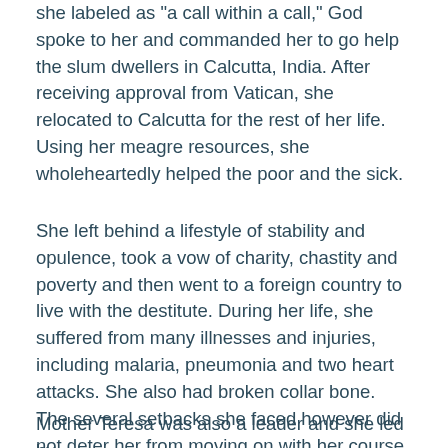she labeled as "a call within a call," God spoke to her and commanded her to go help the slum dwellers in Calcutta, India. After receiving approval from Vatican, she relocated to Calcutta for the rest of her life. Using her meagre resources, she wholeheartedly helped the poor and the sick.
She left behind a lifestyle of stability and opulence, took a vow of charity, chastity and poverty and then went to a foreign country to live with the destitute. During her life, she suffered from many illnesses and injuries, including malaria, pneumonia and two heart attacks. She also had broken collar bone. The several setbacks she faced however did not deter her from moving on with her course.
Mother Teresa was also a leader and she led by